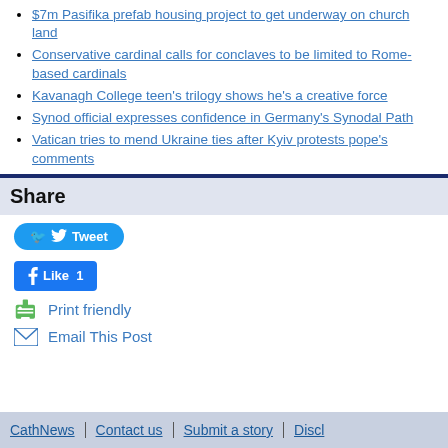$7m Pasifika prefab housing project to get underway on church land
Conservative cardinal calls for conclaves to be limited to Rome-based cardinals
Kavanagh College teen's trilogy shows he's a creative force
Synod official expresses confidence in Germany's Synodal Path
Vatican tries to mend Ukraine ties after Kyiv protests pope's comments
Share
Tweet
Like 1
Print friendly
Email This Post
CathNews | Contact us | Submit a story | Discl